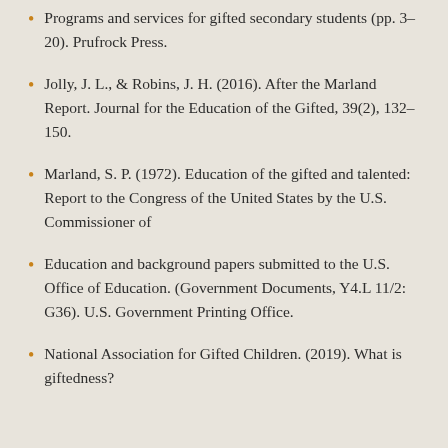Programs and services for gifted secondary students (pp. 3–20). Prufrock Press.
Jolly, J. L., & Robins, J. H. (2016). After the Marland Report. Journal for the Education of the Gifted, 39(2), 132–150.
Marland, S. P. (1972). Education of the gifted and talented: Report to the Congress of the United States by the U.S. Commissioner of
Education and background papers submitted to the U.S. Office of Education. (Government Documents, Y4.L 11/2: G36). U.S. Government Printing Office.
National Association for Gifted Children. (2019). What is giftedness?